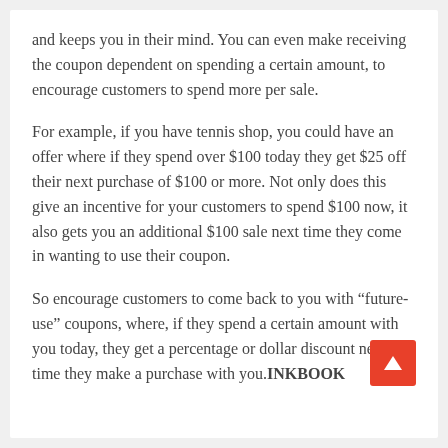and keeps you in their mind. You can even make receiving the coupon dependent on spending a certain amount, to encourage customers to spend more per sale.
For example, if you have tennis shop, you could have an offer where if they spend over $100 today they get $25 off their next purchase of $100 or more. Not only does this give an incentive for your customers to spend $100 now, it also gets you an additional $100 sale next time they come in wanting to use their coupon.
So encourage customers to come back to you with “future-use” coupons, where, if they spend a certain amount with you today, they get a percentage or dollar discount next time they make a purchase with you.INKBOOK